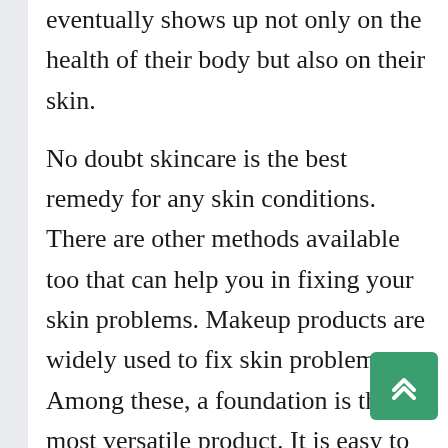eventually shows up not only on the health of their body but also on their skin.
No doubt skincare is the best remedy for any skin conditions. There are other methods available too that can help you in fixing your skin problems. Makeup products are widely used to fix skin problems. Among these, a foundation is the most versatile product. It is easy to use and can be applied conveniently to hide your skin's imperfections. Here is all you need to know about skin conditions that you might face and how a foundation can